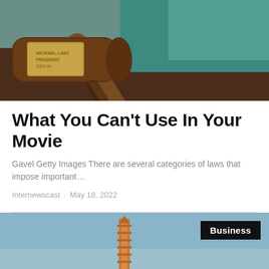[Figure (photo): Close-up photo of a wooden judge's gavel with a brass nameplate, resting on a surface with a teal/green background]
What You Can't Use In Your Movie
Gavel Getty Images There are several categories of laws that impose important…
Internewscast · May 18, 2022
[Figure (photo): Photo of what appears to be a rocket or launch structure against a blue sky with a 'Business' badge overlay]